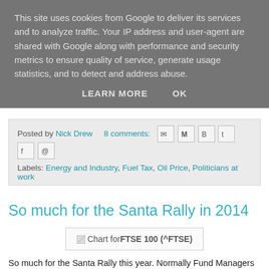This site uses cookies from Google to deliver its services and to analyze traffic. Your IP address and user-agent are shared with Google along with performance and security metrics to ensure quality of service, generate usage statistics, and to detect and address abuse.
LEARN MORE    OK
Posted by Nick Drew   8 comments:
Labels: Energy and Industry, Fuel Tax, Oil Price, Politicians at work
So much for the Santa Rally in 2014
[Figure (other): Chart for FTSE 100 (^FTSE) - broken image placeholder]
So much for the Santa Rally this year. Normally Fund Managers and are keen to lock in their gains for the year  to get their all important b that quite often the FTSE and other world indexes end the year at th only to have a bad month in January when the managers come back to audit...